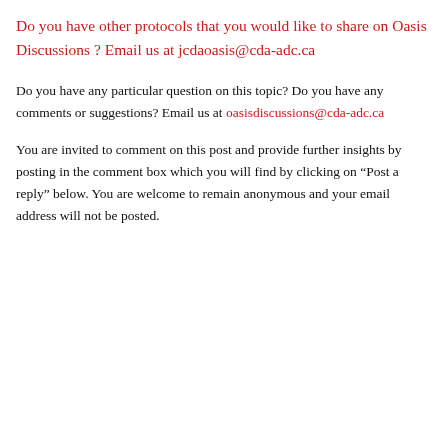Do you have other protocols that you would like to share on Oasis Discussions ? Email us at jcdaoasis@cda-adc.ca
Do you have any particular question on this topic? Do you have any comments or suggestions? Email us at oasisdiscussions@cda-adc.ca
You are invited to comment on this post and provide further insights by posting in the comment box which you will find by clicking on “Post a reply” below. You are welcome to remain anonymous and your email address will not be posted.